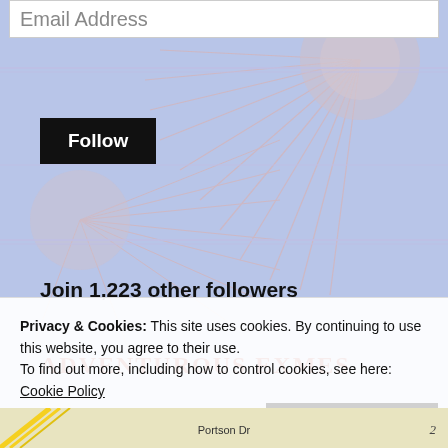Email Address
Follow
Join 1,223 other followers
ADVENTUROUS EXMES
Privacy & Cookies: This site uses cookies. By continuing to use this website, you agree to their use. To find out more, including how to control cookies, see here: Cookie Policy
Close and accept
Portson Dr
2